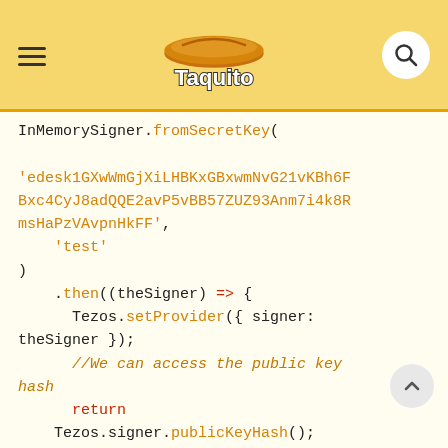[Figure (logo): Taquito logo with hamburger menu icon and search button on yellow header background]
InMemorySigner.fromSecretKey(

'edesk1GXwWmGjXiLHBKxGBxwmNvG21vKBh6FBxc4CyJ8adQQE2avP5vBB57ZUZ93Anm7i4k8RmsHaPzVAvpnHkFF',
    'test'
)
    .then((theSigner) => {
      Tezos.setProvider({ signer: theSigner });
      //We can access the public key hash
      return
    Tezos.signer.publicKeyHash();